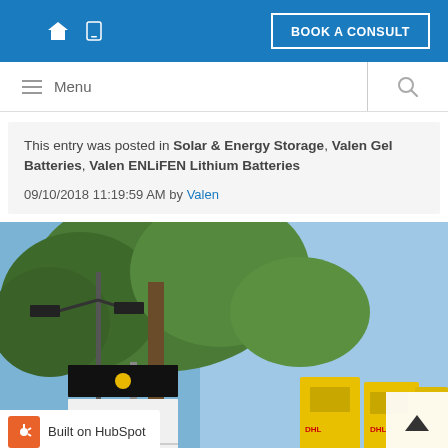BOOK A CONSULT
This entry was posted in Solar & Energy Storage, Valen Gel Batteries, Valen ENLiFEN Lithium Batteries
09/10/2018 11:19:59 AM by Valen
[Figure (photo): Outdoor photo showing a road flooding warning sign reading ROAD SUBJECT TO FLOODING INDICATORS SHOW DEPTH / WIVENHOE POCKET RD CLOSED with solar panel lights above it, trees in the background against a blue sky, and yellow battery units visible on the right side.]